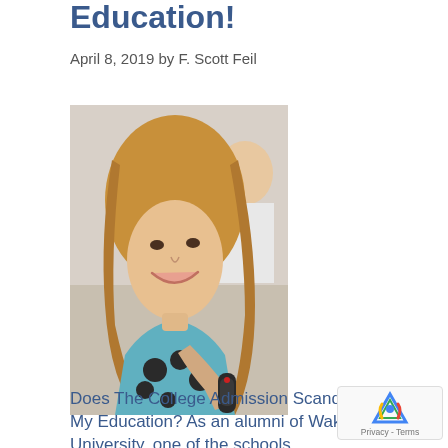Education!
April 8, 2019 by F. Scott Feil
[Figure (photo): Woman with long blonde hair smiling, being interviewed with a microphone held up, another person visible in background]
Does The College Admission Scandal Cheapen My Education? As an alumni of Wake Forest University, one of the schools…